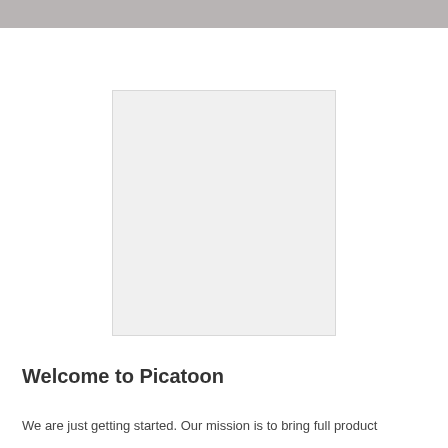[Figure (other): A light gray rectangular placeholder image box with a subtle border]
Welcome to Picatoon
We are just getting started. Our mission is to bring full product